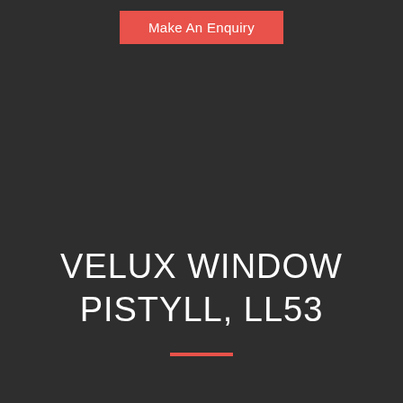Make An Enquiry
VELUX WINDOW PISTYLL, LL53